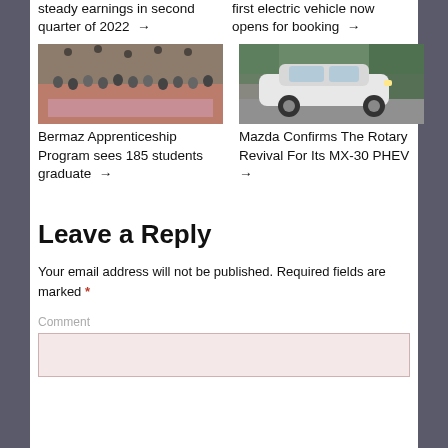steady earnings in second quarter of 2022 →
first electric vehicle now opens for booking →
[Figure (photo): Group photo of people at a ceremony, likely a graduation event for Bermaz Apprenticeship Program]
[Figure (photo): Mazda MX-30 PHEV white electric vehicle on road]
Bermaz Apprenticeship Program sees 185 students graduate →
Mazda Confirms The Rotary Revival For Its MX-30 PHEV →
Leave a Reply
Your email address will not be published. Required fields are marked *
Comment